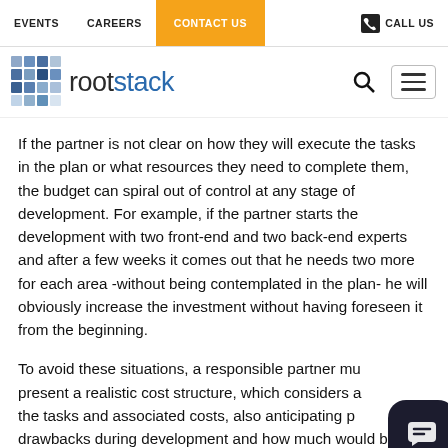EVENTS   CAREERS   CONTACT US   CALL US
[Figure (logo): Rootstack logo — a mosaic cube icon followed by the wordmark 'rootstack' in dark and blue lettering]
If the partner is not clear on how they will execute the tasks in the plan or what resources they need to complete them, the budget can spiral out of control at any stage of development. For example, if the partner starts the development with two front-end and two back-end experts and after a few weeks it comes out that he needs two more for each area -without being contemplated in the plan- he will obviously increase the investment without having foreseen it from the beginning.
To avoid these situations, a responsible partner must present a realistic cost structure, which considers all the tasks and associated costs, also anticipating possible drawbacks during development and how much would be